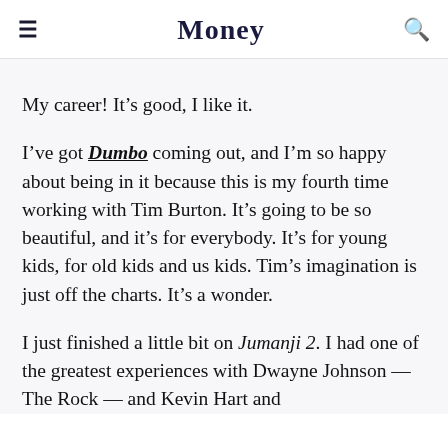Money
My career! It’s good, I like it.
I’ve got Dumbo coming out, and I’m so happy about being in it because this is my fourth time working with Tim Burton. It’s going to be so beautiful, and it’s for everybody. It’s for young kids, for old kids and us kids. Tim’s imagination is just off the charts. It’s a wonder.
I just finished a little bit on Jumanji 2. I had one of the greatest experiences with Dwayne Johnson — The Rock — and Kevin Hart and